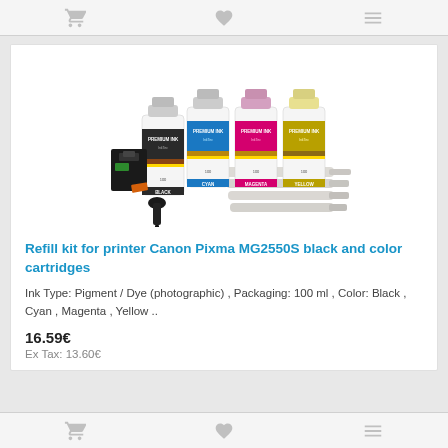[Figure (photo): Product photo of a refill ink kit with four ink bottles (black, cyan, magenta, yellow) labeled PREMIUM INK by InkTec, along with syringes and a cartridge refill tool]
Refill kit for printer Canon Pixma MG2550S black and color cartridges
Ink Type: Pigment / Dye (photographic) , Packaging: 100 ml , Color: Black , Cyan , Magenta , Yellow ..
16.59€
Ex Tax: 13.60€